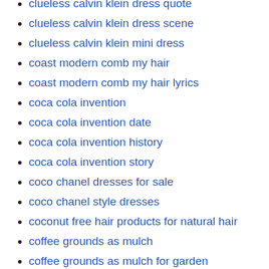clueless calvin klein dress quote
clueless calvin klein dress scene
clueless calvin klein mini dress
coast modern comb my hair
coast modern comb my hair lyrics
coca cola invention
coca cola invention date
coca cola invention history
coca cola invention story
coco chanel dresses for sale
coco chanel style dresses
coconut free hair products for natural hair
coffee grounds as mulch
coffee grounds as mulch for garden
coffee grounds as mulch for roses